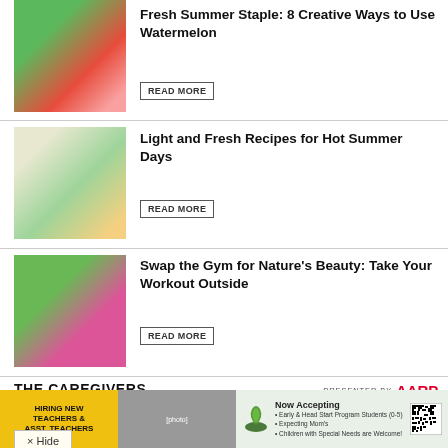[Figure (photo): Watermelon slices and drinks on a green background]
Fresh Summer Staple: 8 Creative Ways to Use Watermelon
READ MORE
[Figure (photo): Woman in kitchen with fresh vegetables]
Light and Fresh Recipes for Hot Summer Days
READ MORE
[Figure (photo): Woman in pink shirt drinking water outdoors on a trail]
Swap the Gym for Nature's Beauty: Take Your Workout Outside
READ MORE
THE CAREGIVERS
PRESENTED BY AARP
[Figure (photo): Community garden photo]
Connection and Peace Flourish in This 79-Year-Old's Community Garden
× Hide
[Figure (photo): Advertisement banner: Hiring New Teachers & Asst. Teachers / Now Accepting Early & Head Start Program Students]